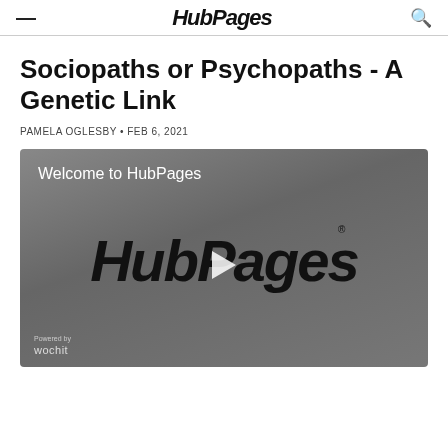HubPages
Sociopaths or Psychopaths - A Genetic Link
PAMELA OGLESBY • FEB 6, 2021
[Figure (screenshot): Video player showing 'Welcome to HubPages' with HubPages logo and play button, powered by Wochit]